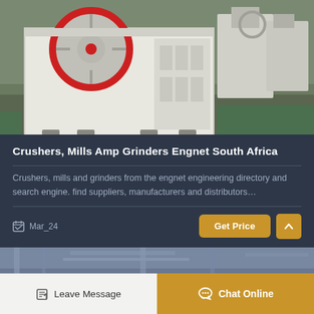[Figure (photo): Industrial jaw crusher machine in white and red, with large flywheel, positioned in a factory/warehouse setting with other equipment visible in the background.]
Crushers, Mills Amp Grinders Engnet South Africa
Crushers, mills and grinders from the engnet engineering directory and search engine. find suppliers, manufacturers and distributors…
Mar_24
[Figure (photo): Partial view of industrial machinery or factory interior, partially cropped at the bottom of the card.]
Leave Message
Chat Online